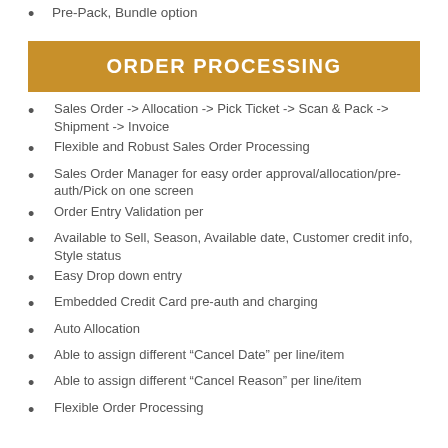Pre-Pack, Bundle option
ORDER PROCESSING
Sales Order -> Allocation -> Pick Ticket -> Scan & Pack -> Shipment -> Invoice
Flexible and Robust Sales Order Processing
Sales Order Manager for easy order approval/allocation/pre-auth/Pick on one screen
Order Entry Validation per
Available to Sell, Season, Available date, Customer credit info, Style status
Easy Drop down entry
Embedded Credit Card pre-auth and charging
Auto Allocation
Able to assign different “Cancel Date” per line/item
Able to assign different “Cancel Reason” per line/item
Flexible Order Processing